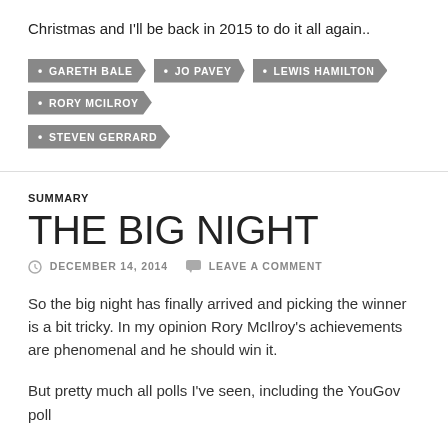Christmas and I'll be back in 2015 to do it all again..
GARETH BALE
JO PAVEY
LEWIS HAMILTON
RORY MCILROY
STEVEN GERRARD
SUMMARY
THE BIG NIGHT
DECEMBER 14, 2014   LEAVE A COMMENT
So the big night has finally arrived and picking the winner is a bit tricky. In my opinion Rory McIlroy's achievements are phenomenal and he should win it.
But pretty much all polls I've seen, including the YouGov poll